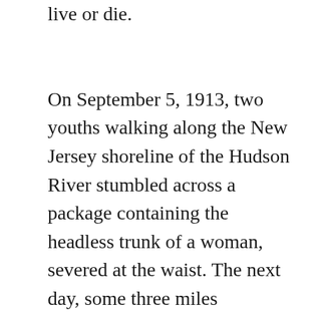live or die.

On September 5, 1913, two youths walking along the New Jersey shoreline of the Hudson River stumbled across a package containing the headless trunk of a woman, severed at the waist. The next day, some three miles downriver at Weehawken, a second package was found, a pillowcase monogrammed with the letter "A", and containing the lower torso of the same woman, wrapped in a newspaper dated August 31. Despite the fact that both packages had washed ashore in New Jersey, jurisdiction passed to the New York Police Department. This decision was made